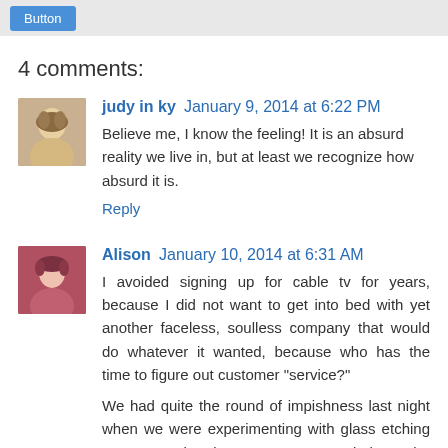4 comments:
judy in ky  January 9, 2014 at 6:22 PM
Believe me, I know the feeling! It is an absurd reality we live in, but at least we recognize how absurd it is.
Reply
Alison  January 10, 2014 at 6:31 AM
I avoided signing up for cable tv for years, because I did not want to get into bed with yet another faceless, soulless company that would do whatever it wanted, because who has the time to figure out customer "service?"
We had quite the round of impishness last night when we were experimenting with glass etching cream, and Miss McKenna needed to be intimately involved. She ended up on the floor eventually, which is good, because we don't have a garage.